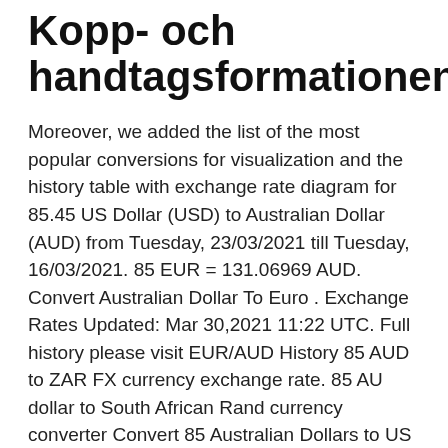Kopp- och handtagsformationen
Moreover, we added the list of the most popular conversions for visualization and the history table with exchange rate diagram for 85.45 US Dollar (USD) to Australian Dollar (AUD) from Tuesday, 23/03/2021 till Tuesday, 16/03/2021. 85 EUR = 131.06969 AUD. Convert Australian Dollar To Euro . Exchange Rates Updated: Mar 30,2021 11:22 UTC. Full history please visit EUR/AUD History 85 AUD to ZAR FX currency exchange rate. 85 AU dollar to South African Rand currency converter Convert 85 Australian Dollars to US Dollars.
Styrelseledamot Per Anders